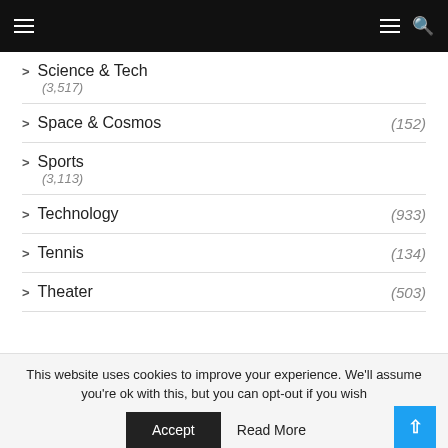Navigation bar with menu and search icons
> Science & Tech (3,517)
> Space & Cosmos (152)
> Sports (3,113)
> Technology (933)
> Tennis (134)
> Theater (503)
This website uses cookies to improve your experience. We'll assume you're ok with this, but you can opt-out if you wish